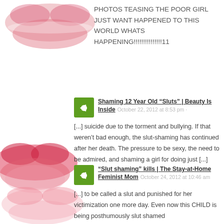[Figure (illustration): Pink and red lip/kiss mark watermark images appearing in the background throughout the page]
PHOTOS TEASING THE POOR GIRL JUST WANT HAPPENED TO THIS WORLD WHATS HAPPENING!!!!!!!!!!!!!!!11
Shaming 12 Year Old “Sluts” | Beauty Is Inside  October 22, 2012 at 8:53 pm
[...] suicide due to the torment and bullying. If that weren’t bad enough, the slut-shaming has continued after her death. The pressure to be sexy, the need to be admired, and shaming a girl for doing just [...]
“Slut shaming” kills | The Stay-at-Home Feminist Mom  October 24, 2012 at 10:46 am
[...] to be called a slut and punished for her victimization one more day. Even now this CHILD is being posthumously slut shamed